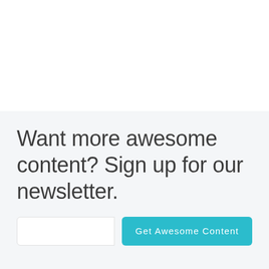Want more awesome content? Sign up for our newsletter.
Get Awesome Content